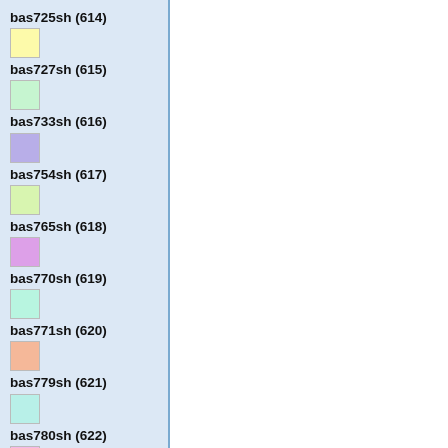bas725sh (614)
bas727sh (615)
bas733sh (616)
bas754sh (617)
bas765sh (618)
bas770sh (619)
bas771sh (620)
bas779sh (621)
bas780sh (622)
bas782sh (623)